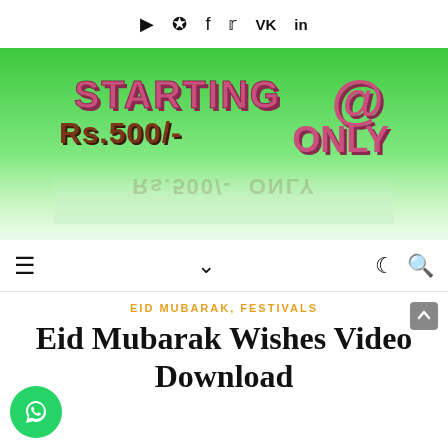Social media icons: YouTube, Pinterest, Facebook, Twitter, VK, LinkedIn
[Figure (photo): Green gradient banner with 3D text reading STARTING @ Rs.500/- ONLY with reflection effect]
[Figure (infographic): Navigation bar with hamburger menu, chevron/dropdown, moon (dark mode), and search icons]
EID MUBARAK, FESTIVALS
Eid Mubarak Wishes Video Download
[Figure (logo): WhatsApp button (green circle with phone icon) in bottom left corner]